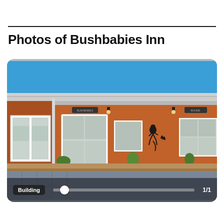Photos of Bushbabies Inn
[Figure (photo): Exterior building photo of Bushbabies Inn showing an orange/terracotta colored single-story building with white-framed windows, metal roof with guttering, decorative bushbaby silhouette on the wall, potted plants, and a paved parking area. Clear blue sky in the background. Photo viewer UI shows 'Building' label, a slider at position 1/1, and page counter '1/1'.]